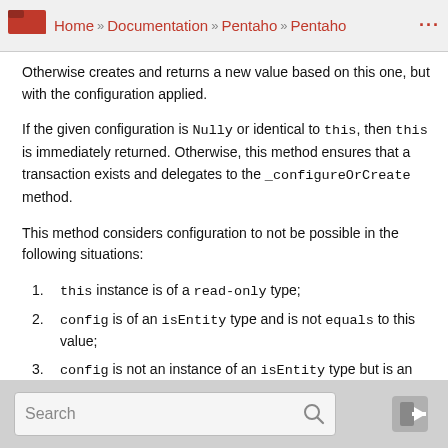Home » Documentation » Pentaho » Pentaho ...
Otherwise creates and returns a new value based on this one, but with the configuration applied.
If the given configuration is Nully or identical to this, then this is immediately returned. Otherwise, this method ensures that a transaction exists and delegates to the _configureOrCreate method.
This method considers configuration to not be possible in the following situations:
1. this instance is of a read-only type;
2. config is of an isEntity type and is not equals to this value;
3. config is not an instance of an isEntity type but is an instance of Value and its constructor is not the same as this;
4. config is not an instance of Value - it is a specification and:
Search